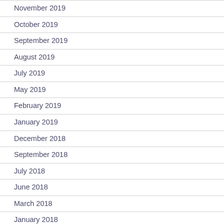November 2019
October 2019
September 2019
August 2019
July 2019
May 2019
February 2019
January 2019
December 2018
September 2018
July 2018
June 2018
March 2018
January 2018